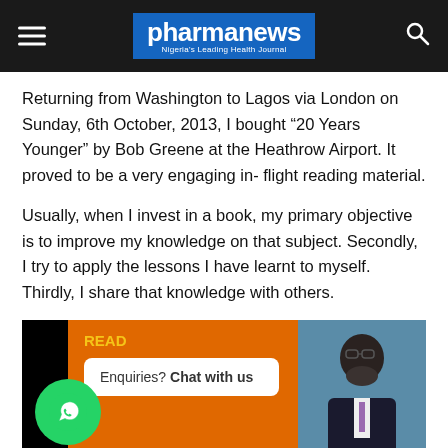pharmanews – Nigeria's Leading Health Journal
Returning from Washington to Lagos via London on Sunday, 6th October, 2013, I bought “20 Years Younger” by Bob Greene at the Heathrow Airport. It proved to be a very engaging in- flight reading material.
Usually, when I invest in a book, my primary objective is to improve my knowledge on that subject. Secondly, I try to apply the lessons I have learnt to myself. Thirdly, I share that knowledge with others.
[Figure (photo): Promotional banner with orange background showing a WhatsApp icon, READ label in yellow, a chat bubble saying 'Enquiries? Chat with us', and a photo of an elderly man in a suit on the right side.]